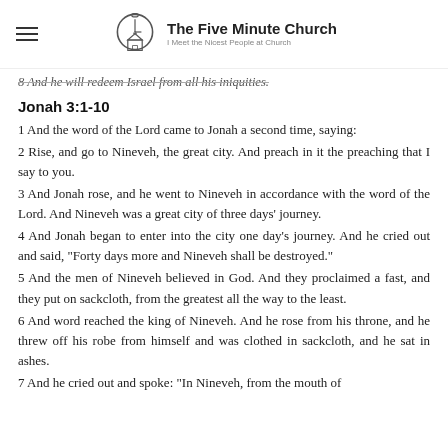The Five Minute Church — I Meet the Nicest People at Church
8 And he will redeem Israel from all his iniquities.
Jonah 3:1-10
1 And the word of the Lord came to Jonah a second time, saying:
2 Rise, and go to Nineveh, the great city. And preach in it the preaching that I say to you.
3 And Jonah rose, and he went to Nineveh in accordance with the word of the Lord. And Nineveh was a great city of three days' journey.
4 And Jonah began to enter into the city one day's journey. And he cried out and said, "Forty days more and Nineveh shall be destroyed."
5 And the men of Nineveh believed in God. And they proclaimed a fast, and they put on sackcloth, from the greatest all the way to the least.
6 And word reached the king of Nineveh. And he rose from his throne, and he threw off his robe from himself and was clothed in sackcloth, and he sat in ashes.
7 And he cried out and spoke: "In Nineveh, from the mouth of